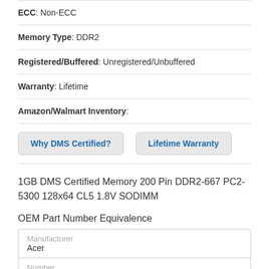ECC: Non-ECC
Memory Type: DDR2
Registered/Buffered: Unregistered/Unbuffered
Warranty: Lifetime
Amazon/Walmart Inventory:
Why DMS Certified?
Lifetime Warranty
1GB DMS Certified Memory 200 Pin DDR2-667 PC2-5300 128x64 CL5 1.8V SODIMM
OEM Part Number Equivalence
| Manufacturer | Number |
| --- | --- |
| Acer |  |